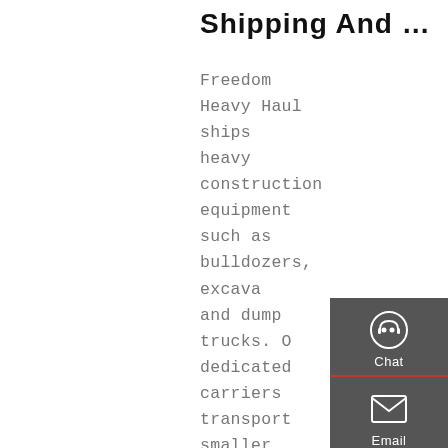Shipping And …
Freedom Heavy Haul ships heavy construction equipment such as bulldozers, excavators, and dump trucks. Our dedicated carriers also transport smaller equipment like skid steers and forklifts. No matter what type of equipment you need transported, let Freedom Heavy Haul provide you with a free assessment